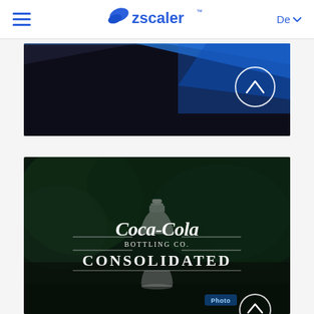Zscaler — De
[Figure (screenshot): Top banner image showing a dark architectural/building scene with blue tones, featuring a circular chevron-up button in the upper right area of the image.]
[Figure (photo): Dark green outdoor/nature scene with trees, overlaid with the Coca-Cola Bottling Co. Consolidated white logo including a bottle silhouette. A 'Photo' label appears in the lower right area, and a circular chevron-up button is partially visible at the bottom right.]